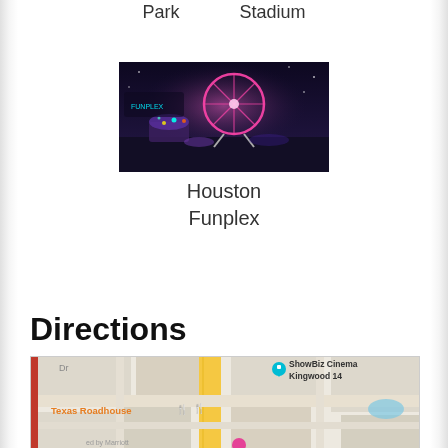Park    Stadium
[Figure (photo): Night photo of Houston Funplex amusement park with colorful lights and rides]
Houston Funplex
Directions
[Figure (map): Google Maps view showing Texas Roadhouse and ShowBiz Cinema Kingwood 14 locations with a red route marker on the left side]